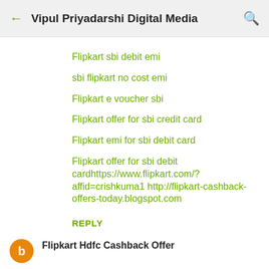Vipul Priyadarshi Digital Media
Flipkart sbi debit emi
sbi flipkart no cost emi
Flipkart e voucher sbi
Flipkart offer for sbi credit card
Flipkart emi for sbi debit card
Flipkart offer for sbi debit cardhttps://www.flipkart.com/?affid=crishkuma1 http://flipkart-cashback-offers-today.blogspot.com
REPLY
Flipkart Hdfc Cashback Offer